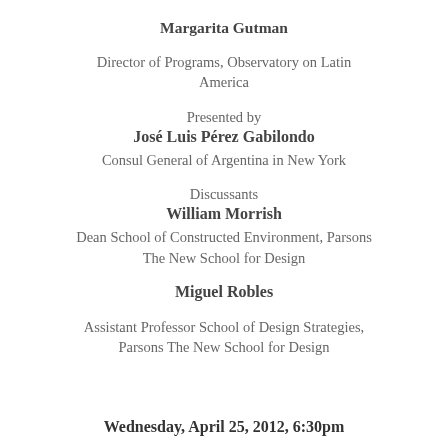Margarita Gutman
Director of Programs, Observatory on Latin America
Presented by
José Luis Pérez Gabilondo
Consul General of Argentina in New York
Discussants
William Morrish
Dean School of Constructed Environment, Parsons The New School for Design
Miguel Robles
Assistant Professor School of Design Strategies, Parsons The New School for Design
Wednesday, April 25, 2012, 6:30pm